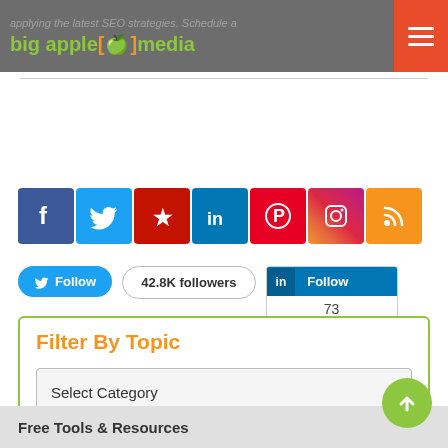applying the latest SEO strategies. Schedule a
[Figure (logo): Big Apple Media logo with green apple icon in brackets, orange brackets, green text on grey header bar]
[Figure (infographic): Row of social media icons: Facebook (blue), Twitter (blue), Yelp (red), LinkedIn (blue), Pinterest (red), Instagram (gradient), RSS (orange)]
[Figure (infographic): Twitter Follow button showing 42.8K followers, and LinkedIn Follow widget showing 73 followers]
Filter By Topic
Select Category
Free Tools & Resources